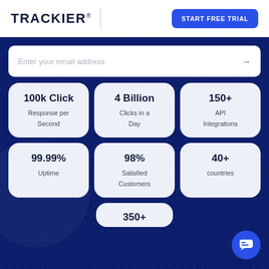[Figure (logo): Trackier logo with registered trademark symbol and vertical divider]
START FREE TRIAL
Enter your email address
100k Click
Response per Second
4 Billion
Clicks in a Day
150+
API Integrations
99.99%
Uptime
98%
Satisfied Customers
40+
countries
350+